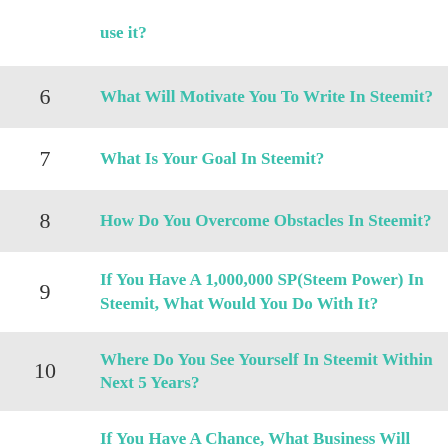| # | Question |
| --- | --- |
| (partial) | use it? |
| 6 | What Will Motivate You To Write In Steemit? |
| 7 | What Is Your Goal In Steemit? |
| 8 | How Do You Overcome Obstacles In Steemit? |
| 9 | If You Have A 1,000,000 SP(Steem Power) In Steemit, What Would You Do With It? |
| 10 | Where Do You See Yourself In Steemit Within Next 5 Years? |
| 11 | If You Have A Chance, What Business Will You Build With SMT(Smart Media Token) And Steemit? |